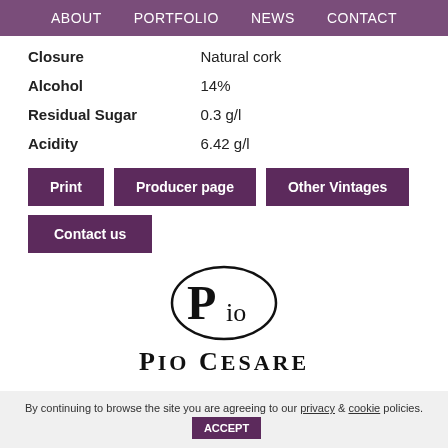ABOUT   PORTFOLIO   NEWS   CONTACT
| Closure | Natural cork |
| Alcohol | 14% |
| Residual Sugar | 0.3 g/l |
| Acidity | 6.42 g/l |
Print
Producer page
Other Vintages
Contact us
[Figure (logo): Pio Cesare winery logo — oval emblem with stylized P and io letters, with bold text PIO CESARE below]
By continuing to browse the site you are agreeing to our privacy & cookie policies. ACCEPT